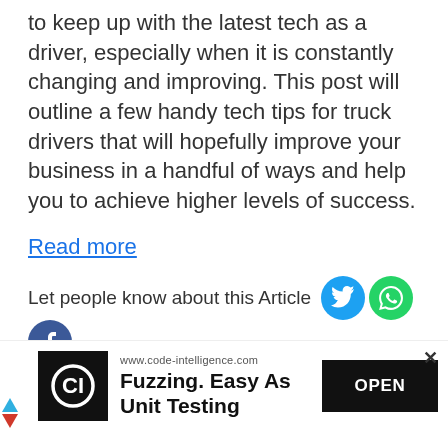to keep up with the latest tech as a driver, especially when it is constantly changing and improving. This post will outline a few handy tech tips for truck drivers that will hopefully improve your business in a handful of ways and help you to achieve higher levels of success.
Read more
Let people know about this Article
Tech News, Solutions
[Figure (infographic): Advertisement banner for code-intelligence.com: Fuzzing. Easy As Unit Testing, with OPEN button and CI logo]